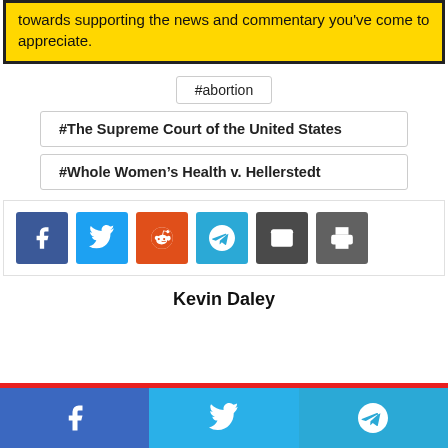towards supporting the news and commentary you've come to appreciate.
#abortion
#The Supreme Court of the United States
#Whole Women's Health v. Hellerstedt
[Figure (infographic): Social share buttons: Facebook, Twitter, Reddit, Telegram, Email, Print]
Kevin Daley
[Figure (infographic): Bottom share bar with Facebook, Twitter, and Telegram buttons]